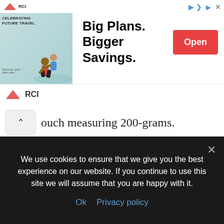[Figure (screenshot): RCI travel advertisement banner with 'Big Plans. Bigger Savings.' headline and red Open button]
ouch measuring 200-grams.
SAKURA TEA
The Sakura plant blossoms in spectacular color and last only for days. The blossoms are significant in Japan as they evoke great passions. The plant itself is celebrated as a symbol of life and the impermanence of it. Tea is made with these
We use cookies to ensure that we give you the best experience on our website. If you continue to use this site we will assume that you are happy with it.
Ok  Privacy policy